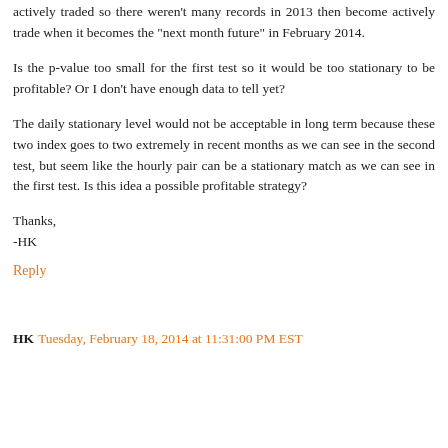actively traded so there weren't many records in 2013 then become actively trade when it becomes the "next month future" in February 2014.
Is the p-value too small for the first test so it would be too stationary to be profitable? Or I don't have enough data to tell yet?
The daily stationary level would not be acceptable in long term because these two index goes to two extremely in recent months as we can see in the second test, but seem like the hourly pair can be a stationary match as we can see in the first test. Is this idea a possible profitable strategy?
Thanks,
-HK
Reply
HK  Tuesday, February 18, 2014 at 11:31:00 PM EST